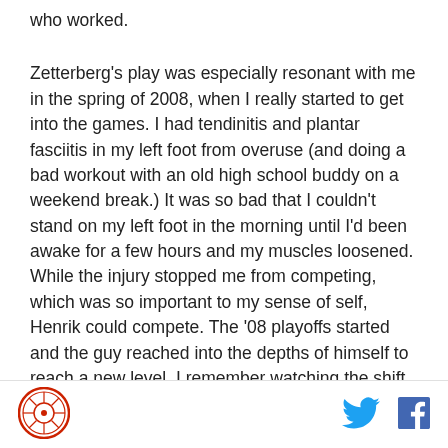who worked.
Zetterberg's play was especially resonant with me in the spring of 2008, when I really started to get into the games. I had tendinitis and plantar fasciitis in my left foot from overuse (and doing a bad workout with an old high school buddy on a weekend break.) It was so bad that I couldn't stand on my left foot in the morning until I'd been awake for a few hours and my muscles loosened. While the injury stopped me from competing, which was so important to my sense of self, Henrik could compete. The '08 playoffs started and the guy reached into the depths of himself to reach a new level. I remember watching the shift cited over and over again since Zetterberg's retirement as the brightest
[Figure (logo): Circular red and white sports/media logo in footer]
[Figure (logo): Twitter bird icon in footer]
[Figure (logo): Facebook f icon in footer]